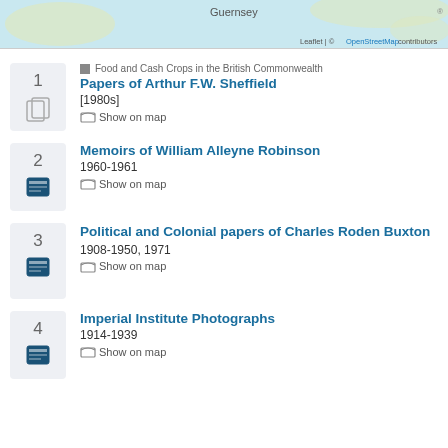[Figure (map): Partial map showing Guernsey region with blue water and land, with Leaflet | © OpenStreetMap contributors attribution]
1 | Food and Cash Crops in the British Commonwealth | Papers of Arthur F.W. Sheffield | [1980s] | Show on map
2 | Memoirs of William Alleyne Robinson | 1960-1961 | Show on map
3 | Political and Colonial papers of Charles Roden Buxton | 1908-1950, 1971 | Show on map
4 | Imperial Institute Photographs | 1914-1939 | Show on map